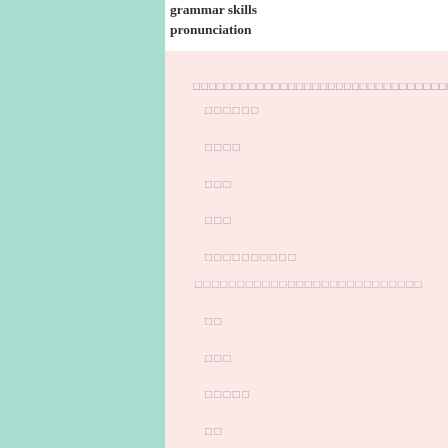grammar skills
pronunciation
[Japanese text - pink box header]
[Japanese text items 1-5]
[Japanese text subheader and items]
Japanese food is delicious, apart from m...
The meaning here is that the speaker likes Japanese food but not natto. They might also say "Japanese food... They might also turn the sentence round a... natto, Japanese food is delicious."
The "that is" at the end of the sentence is words that add something to the main idea...